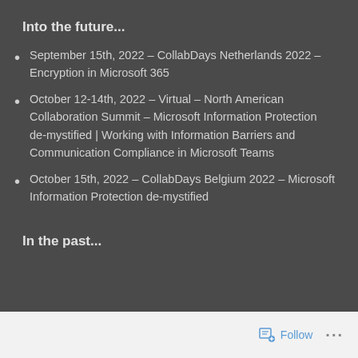Into the future...
September 15th, 2022 – CollabDays Netherlands 2022 – Encryption in Microsoft 365
October 12-14th, 2022 – Virtual – North American Collaboration Summit – Microsoft Information Protection de-mystified | Working with Information Barriers and Communication Compliance in Microsoft Teams
October 15th, 2022 – CollabDays Belgium 2022 – Microsoft Information Protection de-mystified
In the past...